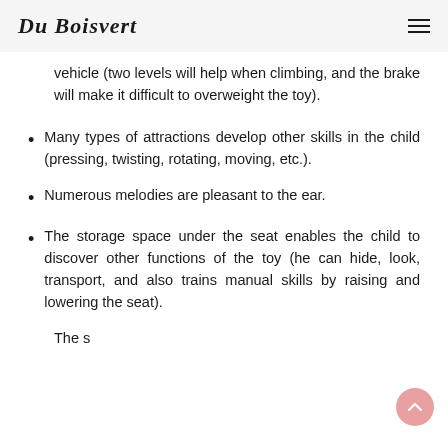Du Boisvert
vehicle (two levels will help when climbing, and the brake will make it difficult to overweight the toy).
Many types of attractions develop other skills in the child (pressing, twisting, rotating, moving, etc.).
Numerous melodies are pleasant to the ear.
The storage space under the seat enables the child to discover other functions of the toy (he can hide, look, transport, and also trains manual skills by raising and lowering the seat).
The [cut off at bottom]